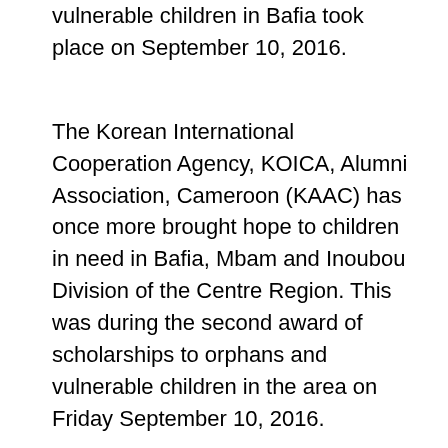vulnerable children in Bafia took place on September 10, 2016.
The Korean International Cooperation Agency, KOICA, Alumni Association, Cameroon (KAAC) has once more brought hope to children in need in Bafia, Mbam and Inoubou Division of the Centre Region. This was during the second award of scholarships to orphans and vulnerable children in the area on Friday September 10, 2016.
The equipment was awarded to 35 orphans from different orphanages in Bafia and children in distress to enable them start the 2016/2017 academic year without hitches. Out of the number